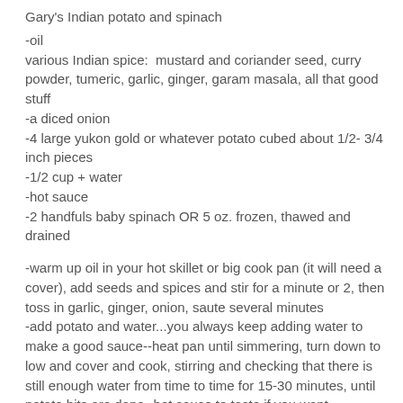Gary's Indian potato and spinach
-oil
various Indian spice:  mustard and coriander seed, curry powder, tumeric, garlic, ginger, garam masala, all that good stuff
-a diced onion
-4 large yukon gold or whatever potato cubed about 1/2- 3/4 inch pieces
-1/2 cup + water
-hot sauce
-2 handfuls baby spinach OR 5 oz. frozen, thawed and drained
-warm up oil in your hot skillet or big cook pan (it will need a cover), add seeds and spices and stir for a minute or 2, then toss in garlic, ginger, onion, saute several minutes
-add potato and water...you always keep adding water to make a good sauce--heat pan until simmering, turn down to low and cover and cook, stirring and checking that there is still enough water from time to time for 15-30 minutes, until potato bits are done--hot sauce to taste if you want
-toss in spinach and stir around gently for a few minutes,